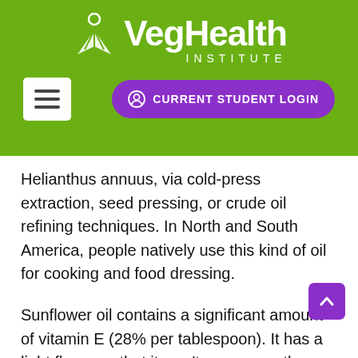[Figure (logo): VegHealth Institute logo with green background, white leaf/person icon and white text]
Helianthus annuus, via cold-press extraction, seed pressing, or crude oil refining techniques. In North and South America, people natively use this kind of oil for cooking and food dressing.
Sunflower oil contains a significant amount of vitamin E (28% per tablespoon). It has a light flavor so that it won't overpower the taste of your dish.
Sunflower oil also has a lot of omega-6 fatty acids, which are considered to be pro-inflammatory. We do need these kinds